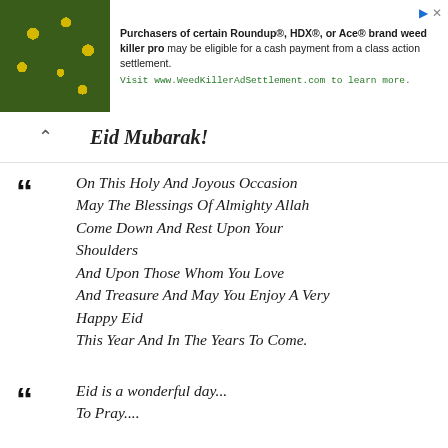[Figure (infographic): Advertisement banner for Roundup/HDX/Ace weed killer class action settlement with nature/flower image on left and text on right]
Eid Mubarak!
On This Holy And Joyous Occasion May The Blessings Of Almighty Allah Come Down And Rest Upon Your Shoulders And Upon Those Whom You Love And Treasure And May You Enjoy A Very Happy Eid This Year And In The Years To Come.
Eid is a wonderful day... To Pray....